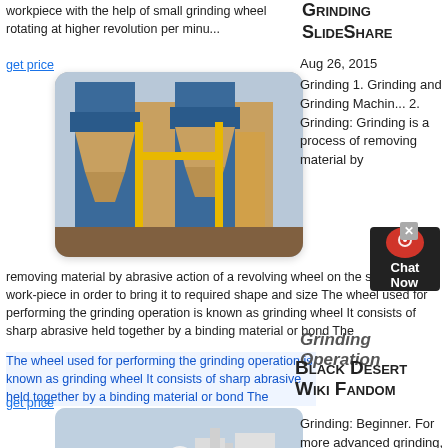workpiece with the help of small grinding wheel rotating at higher revolution per minu...
get price
[Figure (photo): Industrial grinding/milling equipment with blue metal structure and yellow scaffolding outdoors]
GRINDING SLIDESHARE
Aug 26, 2015
Grinding 1. Grinding and Grinding Machin... 2. Grinding: Grinding is a process of removing material by abrasive action of a revolving wheel on the surface of a work-piece in order to bring it to required shape and size The wheel used for performing the grinding operation is known as grinding wheel It consists of sharp abrasive held together by a binding material or bond The
get price
Grinding Operation
BLACK DESERT WIKI FANDOM
[Figure (photo): Industrial white grinding/milling machinery outside a building]
Grinding: Beginner. For more advanced grinding, you need to learn the